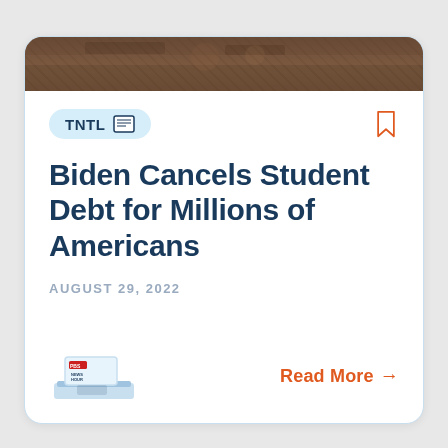[Figure (photo): Top banner photo showing a dark wood-paneled room or interior setting]
TNTL
Biden Cancels Student Debt for Millions of Americans
AUGUST 29, 2022
[Figure (illustration): Small illustration of a PBS NewsHour news desk/podium icon]
Read More →